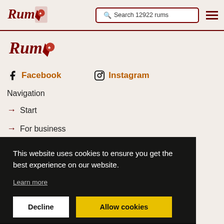Rum [logo] — Search 12922 rums — [menu]
[Figure (logo): Rum Ratings logo with stylized 'Rum' text and card suit icon, dark red color]
[Figure (logo): Secondary Rum Ratings logo]
Facebook   Instagram
Navigation
→ Start
→ For business
This website uses cookies to ensure you get the best experience on our website. Learn more
Decline   Allow cookies